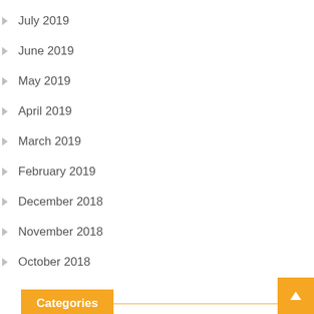July 2019
June 2019
May 2019
April 2019
March 2019
February 2019
December 2018
November 2018
October 2018
Categories
Auto
automobile